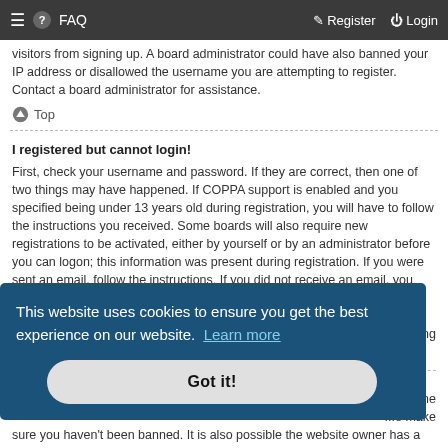≡  FAQ    Register  Login
visitors from signing up. A board administrator could have also banned your IP address or disallowed the username you are attempting to register. Contact a board administrator for assistance.
⬆ Top
I registered but cannot login!
First, check your username and password. If they are correct, then one of two things may have happened. If COPPA support is enabled and you specified being under 13 years old during registration, you will have to follow the instructions you received. Some boards will also require new registrations to be activated, either by yourself or by an administrator before you can logon; this information was present during registration. If you were sent an email, follow the instructions. If you did not receive an email, you may have provided an incorrect email address or the email may have been picked up by a spam
[Figure (screenshot): Cookie consent banner overlay with text 'This website uses cookies to ensure you get the best experience on our website. Learn more' and a 'Got it!' button]
...tacting
...username ...make sure you haven't been banned. It is also possible the website owner has a